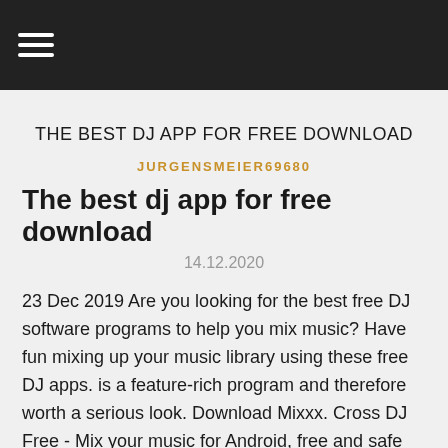☰ (navigation bar)
THE BEST DJ APP FOR FREE DOWNLOAD
JURGENSMEIER69680
The best dj app for free download
14.12.2020
23 Dec 2019 Are you looking for the best free DJ software programs to help you mix music? Have fun mixing up your music library using these free DJ apps. is a feature-rich program and therefore worth a serious look. Download Mixxx. Cross DJ Free - Mix your music for Android, free and safe download. This app is best known for the following features and qualities: dj app